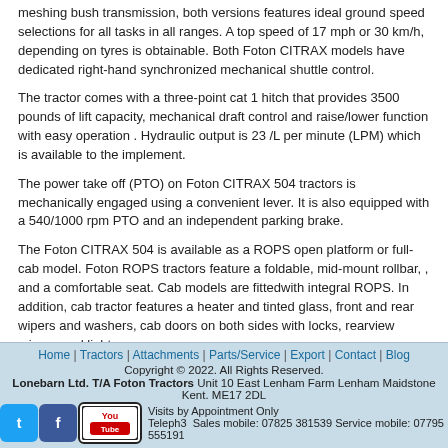meshing bush transmission, both versions features ideal ground speed selections for all tasks in all ranges. A top speed of 17 mph or 30 km/h, depending on tyres is obtainable. Both Foton CITRAX models have dedicated right-hand synchronized mechanical shuttle control.
The tractor comes with a three-point cat 1 hitch that provides 3500 pounds of lift capacity, mechanical draft control and raise/lower function with easy operation . Hydraulic output is 23 /L per minute (LPM) which is available to the implement.
The power take off (PTO) on Foton CITRAX 504 tractors is mechanically engaged using a convenient lever. It is also equipped with a 540/1000 rpm PTO and an independent parking brake.
The Foton CITRAX 504 is available as a ROPS open platform or full-cab model. Foton ROPS tractors feature a foldable, mid-mount rollbar, , and a comfortable seat. Cab models are fittedwith integral ROPS. In addition, cab tractor features a heater and tinted glass, front and rear wipers and washers, cab doors on both sides with locks, rearview mirrors and light.
“If you have a big job to do with only a narrow space to get it done, with a Foton CITRAX tractor offers operators the size, power and flexibility you require at a price you can afford.
Posted in Tractor range | 1 Comment
Home | Tractors | Attachments | Parts/Service | Export | Contact | Blog
Copyright © 2022. All Rights Reserved.
Lonebarn Ltd. T/A Foton Tractors Unit 10 East Lenham Farm Lenham Maidstone Kent. ME17 2DL
Visits by Appointment Only
Telephone: ...3... Sales mobile: 07825 381539 Service mobile: 07795 555191